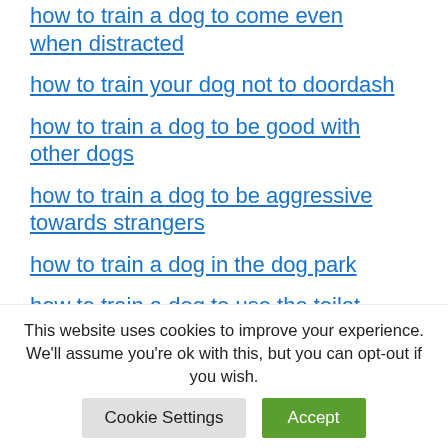how to train a dog to come even when distracted
how to train your dog not to doordash
how to train a dog to be good with other dogs
how to train a dog to be aggressive towards strangers
how to train a dog in the dog park
how to train a dog to use the toilet
how to train a hunting dog
This website uses cookies to improve your experience. We'll assume you're ok with this, but you can opt-out if you wish.
Cookie Settings | Accept